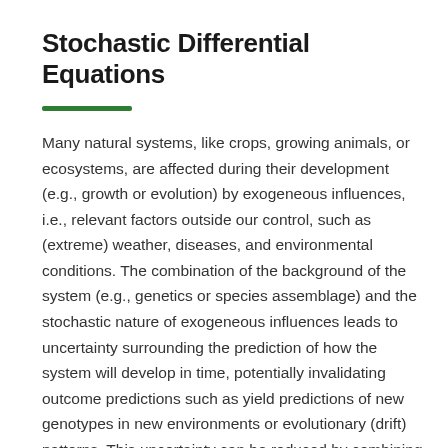Stochastic Differential Equations
Many natural systems, like crops, growing animals, or ecosystems, are affected during their development (e.g., growth or evolution) by exogeneous influences, i.e., relevant factors outside our control, such as (extreme) weather, diseases, and environmental conditions. The combination of the background of the system (e.g., genetics or species assemblage) and the stochastic nature of exogeneous influences leads to uncertainty surrounding the prediction of how the system will develop in time, potentially invalidating outcome predictions such as yield predictions of new genotypes in new environments or evolutionary (drift) patterns. This uncertainty can be reduced by combining proper modelling techniques with frequent on-the-fly